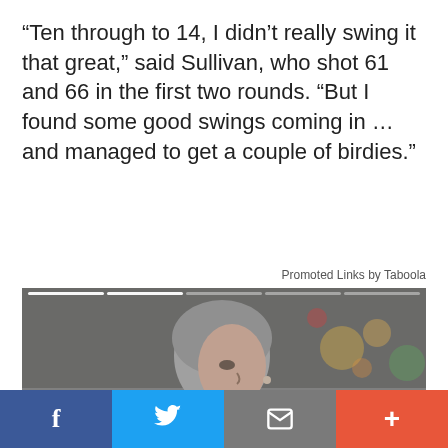“Ten through to 14, I didn’t really swing it that great,” said Sullivan, who shot 61 and 66 in the first two rounds. “But I found some good swings coming in … and managed to get a couple of birdies.”
Promoted Links by Taboola
[Figure (photo): Video player showing an older woman with short grey hair wearing a red scarf and grey jacket, standing at a street crossing. Overlaid with video playback controls (previous, pause, next) and a Fisher Investments label. Progress bars at the top.]
f (Facebook share) | Twitter share | Email share | + (More share options)